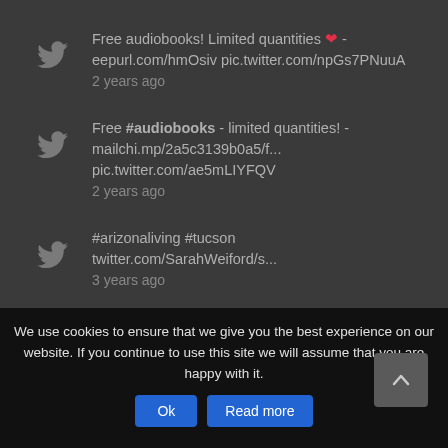Free audiobooks! Limited quantities ❤ - eepurl.com/hmOsiv pic.twitter.com/npGs7PNuuA
2 years ago
Free #audiobooks - limited quantities! - mailchi.mp/2a5c3139b0a5/f... pic.twitter.com/ae5mLIYFQV
2 years ago
#arizonaliving #tucson twitter.com/SarahWeiford/s...
3 years ago
We use cookies to ensure that we give you the best experience on our website. If you continue to use this site we will assume that you are happy with it.